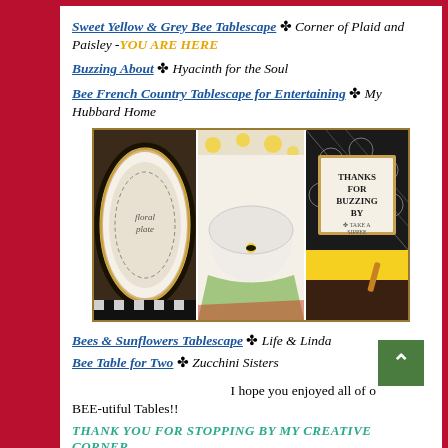Sweet Yellow & Grey Bee Tablescape ❧ Corner of Plaid and Paisley - YOU ARE HERE
Buzzing About ❧ Hyacinth for the Soul
Bee French Country Tablescape for Entertaining ❧ My Hubbard Home
[Figure (photo): Three-panel photo collage showing bee-themed tablescape items: decorated plates on left, a white ceramic bowl in center, and a 'Thanks for Buzzing By' sign in black and white frame on right]
Bees & Sunflowers Tablescape ❧ Life & Linda
Bee Table for Two ❧ Zucchini Sisters
I hope you enjoyed all of o
BEE-utiful Tables!!
THANK YOU FOR STOPPING BY MY CREATIVE CORNER